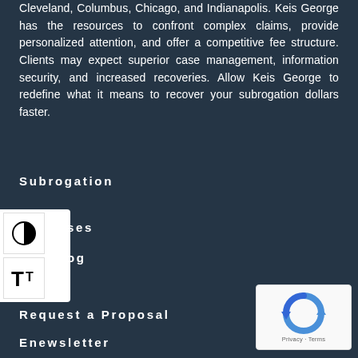Cleveland, Columbus, Chicago, and Indianapolis. Keis George has the resources to confront complex claims, provide personalized attention, and offer a competitive fee structure. Clients may expect superior case management, information security, and increased recoveries. Allow Keis George to redefine what it means to recover your subrogation dollars faster.
Subrogation
ses
og
News
Request a Proposal
Enewsletter
[Figure (other): reCAPTCHA widget with blue circular arrow logo, showing Privacy and Terms text]